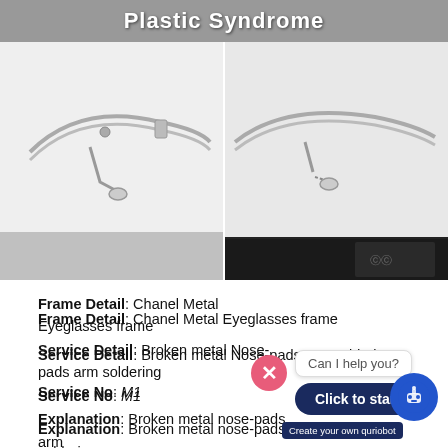[Figure (photo): Top banner with 'Plastic Syndrome' text overlay on grey background]
[Figure (photo): Two side-by-side close-up photos of Chanel metal eyeglasses frame showing nose-pad area, left image showing intact side, right image showing broken nose-pad arm area.]
Frame Detail: Chanel Metal Eyeglasses frame
Service Detail: Broken metal Nose-pads arm soldering
Service No: M1
Explanation: Broken metal nose-pads arm soldering
The original and best welder frame)
All metal frame repair inclu like pad arms, hinges, nose
Turn around: 5-7 working d